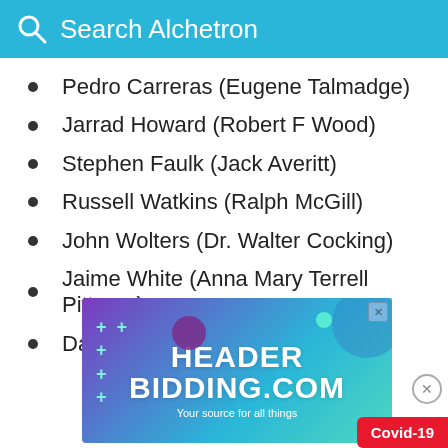Search Alchetron
Pedro Carreras (Eugene Talmadge)
Jarrad Howard (Robert F Wood)
Stephen Faulk (Jack Averitt)
Russell Watkins (Ralph McGill)
John Wolters (Dr. Walter Cocking)
Jaime White (Anna Mary Terrell Pittman)
David Poulian (Mose Bass)
[Figure (screenshot): Advertisement banner for HeaderBidding.com with gradient purple-teal background, plus signs, decorative circles, large white text 'HEADER BIDDING.COM', subtext 'Your source for all things', and a Covid-19 badge in red.]